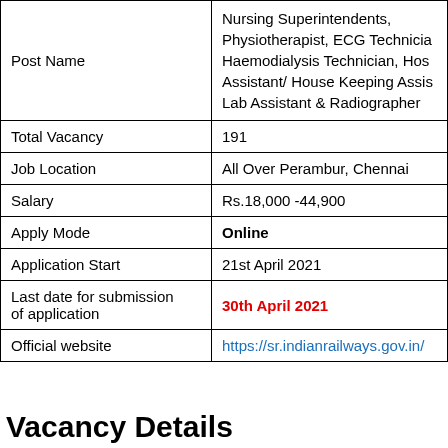| Field | Value |
| --- | --- |
| Post Name | Nursing Superintendents, Physiotherapist, ECG Technician, Haemodialysis Technician, Hospital Assistant/ House Keeping Assistant, Lab Assistant & Radiographer |
| Total Vacancy | 191 |
| Job Location | All Over Perambur, Chennai |
| Salary | Rs.18,000 -44,900 |
| Apply Mode | Online |
| Application Start | 21st April 2021 |
| Last date for submission of application | 30th April 2021 |
| Official website | https://sr.indianrailways.gov.in/ |
Vacancy Details